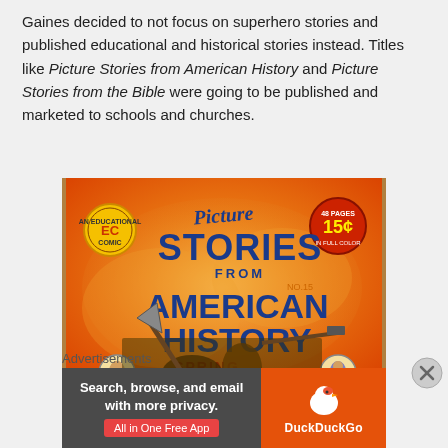Gaines decided to not focus on superhero stories and published educational and historical stories instead. Titles like Picture Stories from American History and Picture Stories from the Bible were going to be published and marketed to schools and churches.
[Figure (photo): Comic book cover of 'Picture Stories from American History', an EC educational comic. Orange background with large stylized text. Shows figures in historical scene. Price 15 cents, 48 pages, full color. Spring issue.]
Advertisements
[Figure (other): DuckDuckGo advertisement. Left side dark background: 'Search, browse, and email with more privacy.' with red 'All in One Free App' button. Right side orange background with DuckDuckGo duck logo and 'DuckDuckGo' text.]